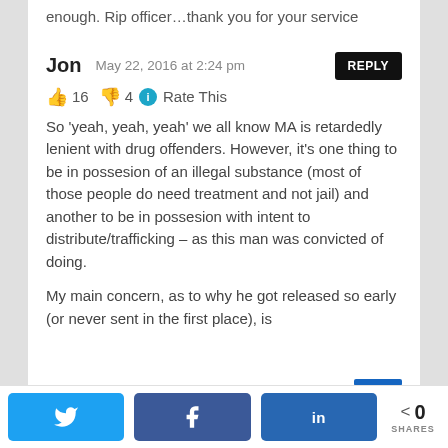enough. Rip officer…thank you for your service
Jon   May 22, 2016 at 2:24 pm   REPLY
👍 16 👎 4 ℹ Rate This
So 'yeah, yeah, yeah' we all know MA is retardedly lenient with drug offenders. However, it's one thing to be in possesion of an illegal substance (most of those people do need treatment and not jail) and another to be in possesion with intent to distribute/trafficking – as this man was convicted of doing.

My main concern, as to why he got released so early (or never sent in the first place), is
Twitter | Facebook | LinkedIn | 0 SHARES